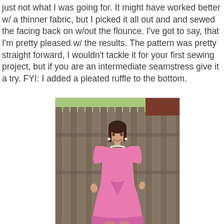just not what I was going for.  It might have worked better w/ a thinner fabric, but I picked it all out and and sewed the facing back on w/out the flounce.  I've got to say, that I'm pretty pleased w/ the results.  The pattern was pretty straight forward, I wouldn't tackle it for your first sewing project, but if you are an intermediate seamstress give it a try. FYI: I added a pleated ruffle to the bottom.
[Figure (photo): Woman wearing a pink wrap dress with short sleeves and pleated ruffle at the bottom, standing in front of a wooden fence with greenery visible at the top. She has dark hair, is wearing a pearl necklace, and smiling.]